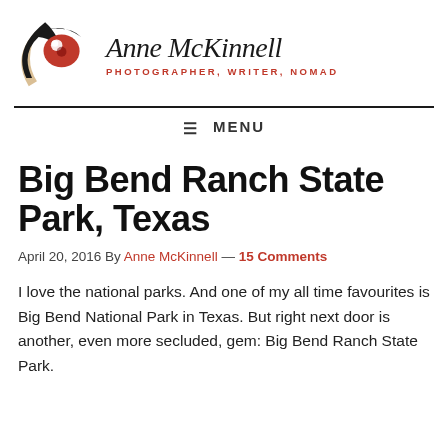[Figure (logo): Anne McKinnell photography logo: stylized eye with red iris, black swooping lines, and golden/beige curved element]
Anne McKinnell
PHOTOGRAPHER, WRITER, NOMAD
≡ MENU
Big Bend Ranch State Park, Texas
April 20, 2016 By Anne McKinnell — 15 Comments
I love the national parks. And one of my all time favourites is Big Bend National Park in Texas. But right next door is another, even more secluded, gem: Big Bend Ranch State Park.